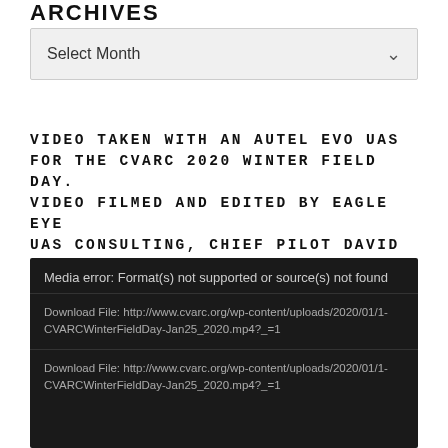ARCHIVES
Select Month
VIDEO TAKEN WITH AN AUTEL EVO UAS FOR THE CVARC 2020 WINTER FIELD DAY. VIDEO FILMED AND EDITED BY EAGLE EYE UAS CONSULTING, CHIEF PILOT DAVID IBARRA.
[Figure (screenshot): Media player error box with dark background showing: 'Media error: Format(s) not supported or source(s) not found' and two download file links to http://www.cvarc.org/wp-content/uploads/2020/01/1-CVARCWinterFieldDay-Jan25_2020.mp4?_=1]